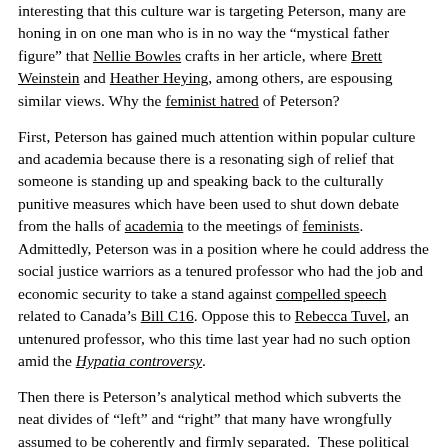interesting that this culture war is targeting Peterson, many are honing in on one man who is in no way the “mystical father figure” that Nellie Bowles crafts in her article, where Brett Weinstein and Heather Heying, among others, are espousing similar views. Why the feminist hatred of Peterson?
First, Peterson has gained much attention within popular culture and academia because there is a resonating sigh of relief that someone is standing up and speaking back to the culturally punitive measures which have been used to shut down debate from the halls of academia to the meetings of feminists. Admittedly, Peterson was in a position where he could address the social justice warriors as a tenured professor who had the job and economic security to take a stand against compelled speech related to Canada’s Bill C16. Oppose this to Rebecca Tuvel, an untenured professor, who this time last year had no such option amid the Hypatia controversy.
Then there is Peterson’s analytical method which subverts the neat divides of “left” and “right” that many have wrongfully assumed to be coherently and firmly separated. These political positions are